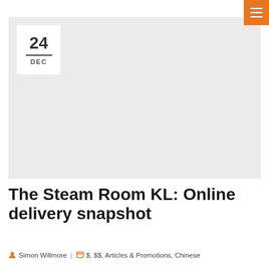[Figure (other): Orange hamburger menu button in top-right corner]
[Figure (photo): Large gray placeholder hero image area with a date badge showing 24 DEC in top-left corner]
The Steam Room KL: Online delivery snapshot
Simon Willmore | $, $$, Articles & Promotions, Chinese